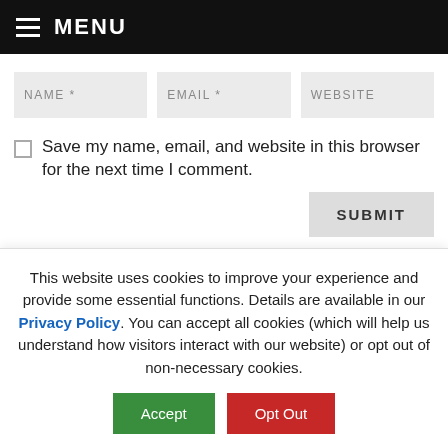MENU
NAME *   EMAIL *   WEBSITE
Save my name, email, and website in this browser for the next time I comment.
SUBMIT
This website uses cookies to improve your experience and provide some essential functions. Details are available in our Privacy Policy. You can accept all cookies (which will help us understand how visitors interact with our website) or opt out of non-necessary cookies.
Accept   Opt Out